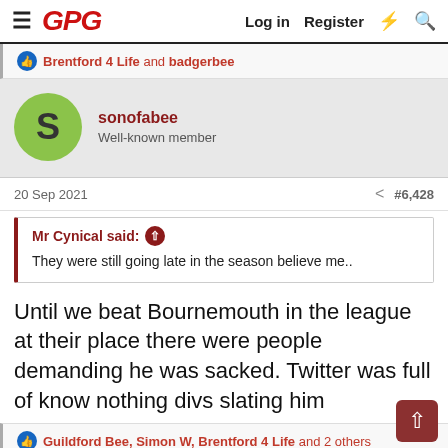GPG  Log in  Register
Brentford 4 Life and badgerbee
sonofabee
Well-known member
20 Sep 2021  #6,428
Mr Cynical said:
They were still going late in the season believe me..
Until we beat Bournemouth in the league at their place there were people demanding he was sacked. Twitter was full of know nothing divs slating him
Guildford Bee, Simon W, Brentford 4 Life and 2 others